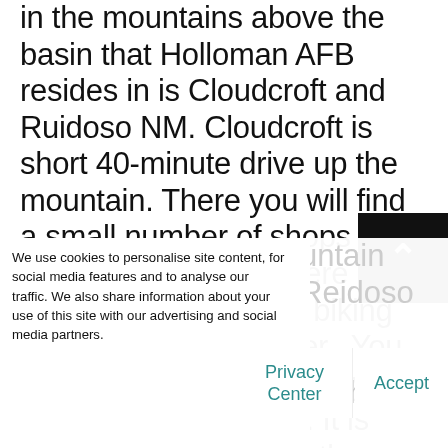in the mountains above the basin that Holloman AFB resides in is Cloudcroft and Ruidoso NM. Cloudcroft is short 40-minute drive up the mountain. There you will find a small number of shops and a few restaurants. There is also hiking, mountain biking and skiing in the winter.  You can continue your journey and head to Ruidoso, NM. It is about an hour from both Holloman AFB and Cloudcroft. Another small town with shopping and small eateries. There is also hiking, mountain biking and a larger ski area. Not too far from... Mountain... Reidoso... live concerts with various artists. Ziplining
We use cookies to personalise site content, for social media features and to analyse our traffic. We also share information about your use of this site with our advertising and social media partners.
Privacy Center
Accept